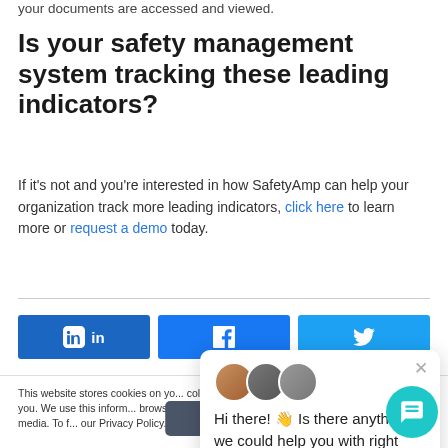your documents are accessed and viewed.
Is your safety management system tracking these leading indicators?
If it's not and you're interested in how SafetyAmp can help your organization track more leading indicators, click here to learn more or request a demo today.
[Figure (other): Social share buttons for LinkedIn, Facebook, and Twitter]
This website stores cookies on your computer to collect information about how you interact with our website and allow us to remember you. We use this information in order to improve your browsing experience and for analytics and metrics about our visitors both on this website and other media. To find out more about the cookies we use, see our Privacy Policy.
[Figure (other): Chat popup with three avatar photos and message: Hi there! Is there anything we could help you with right now?]